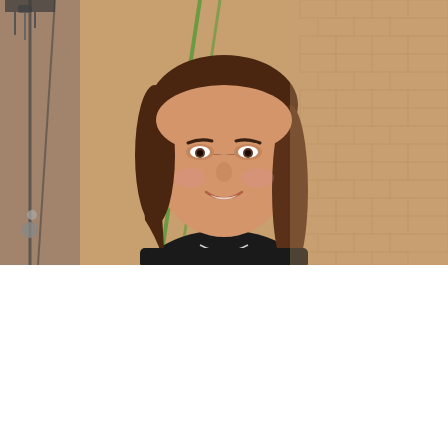[Figure (photo): A smiling young woman with long brown hair wearing a black top, photographed in what appears to be a gym or sports facility with brick tile walls and green cables/ropes visible in the background.]
We use cookies on our website to give you the most relevant experience by remembering your preferences and repeat visits. By clicking “Accept”, you consent to the use of ALL the cookies.
Cookie settings
ACCEPT